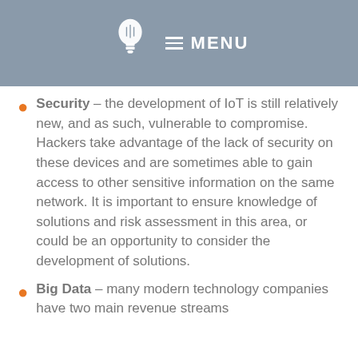MENU
Security – the development of IoT is still relatively new, and as such, vulnerable to compromise. Hackers take advantage of the lack of security on these devices and are sometimes able to gain access to other sensitive information on the same network. It is important to ensure knowledge of solutions and risk assessment in this area, or could be an opportunity to consider the development of solutions.
Big Data – many modern technology companies have two main revenue streams